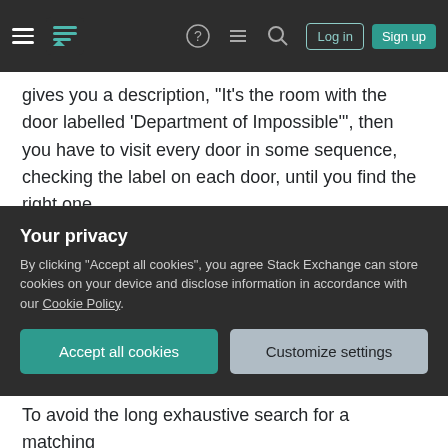Navigation bar with hamburger menu, Stack Exchange logo, help icon, chat icon, search icon, Log in button, Sign up button
gives you a description, "It's the room with the door labelled 'Department of Impossible'", then you have to visit every door in some sequence, checking the label on each door, until you find the right one.
But if someone gives you the room number "3042", you're in much better shape. Now you know to start on the third floor, and if a sign in the hallway says "← 3001-3050" then you know to go left, not right. When you find room 3039, you might reasonably guess that your destination is another two doors
Your privacy
By clicking "Accept all cookies", you agree Stack Exchange can store cookies on your device and disclose information in accordance with our Cookie Policy.
Accept all cookies   Customize settings
To avoid the long exhaustive search for a matching